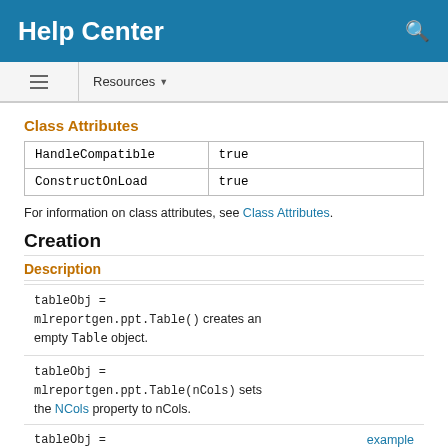Help Center
Class Attributes
| HandleCompatible | true |
| ConstructOnLoad | true |
For information on class attributes, see Class Attributes.
Creation
Description
tableObj = mlreportgen.ppt.Table() creates an empty Table object.
tableObj = mlreportgen.ppt.Table(nCols) sets the NCols property to nCols.
tableObj =